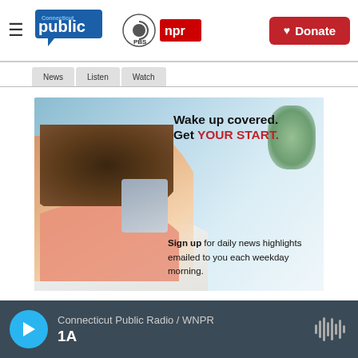Connecticut Public | PBS | NPR — Donate
[Figure (photo): Promotional advertisement: A woman lying in bed smiling at her phone. Text reads 'Wake up covered. Get YOUR START.' and 'Sign up for daily news highlights emailed to you each weekday morning.']
Connecticut Public Radio / WNPR — 1A